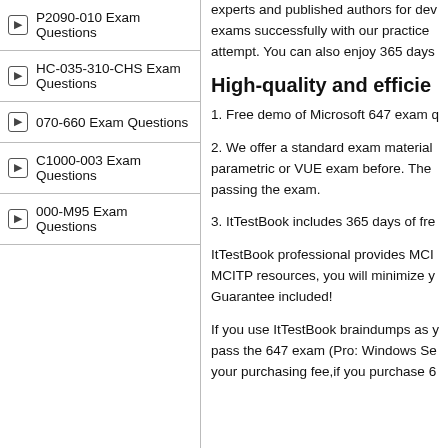P2090-010 Exam Questions
HC-035-310-CHS Exam Questions
070-660 Exam Questions
C1000-003 Exam Questions
000-M95 Exam Questions
experts and published authors for dev exams successfully with our practice attempt. You can also enjoy 365 days
High-quality and efficie
1. Free demo of Microsoft 647 exam q
2. We offer a standard exam material parametric or VUE exam before. The passing the exam.
3. ItTestBook includes 365 days of fre
ItTestBook professional provides MCI MCITP resources, you will minimize y Guarantee included!
If you use ItTestBook braindumps as y pass the 647 exam (Pro: Windows Se your purchasing fee,if you purchase 6